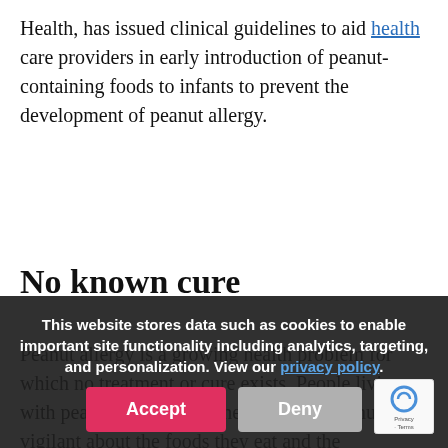Health, has issued clinical guidelines to aid health care providers in early introduction of peanut-containing foods to infants to prevent the development of peanut allergy.
No known cure
Peanut allergy is a growing health problem for which no treatment or cure exists. People living with peanut allergy, and their caregivers, must be vigilant about the foods they eat and the environments they enter to avoid allergic reactions, which can be severe and even life-threatening. However, recent scientific research has demonstrated that introducing peanut-containing foods into the diet during infancy
This website stores data such as cookies to enable important site functionality including analytics, targeting, and personalization. View our privacy policy.